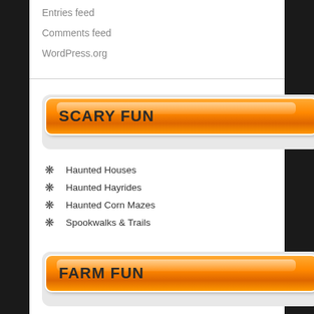Entries feed
Comments feed
WordPress.org
SCARY FUN
Haunted Houses
Haunted Hayrides
Haunted Corn Mazes
Spookwalks & Trails
FARM FUN
Corn Mazes